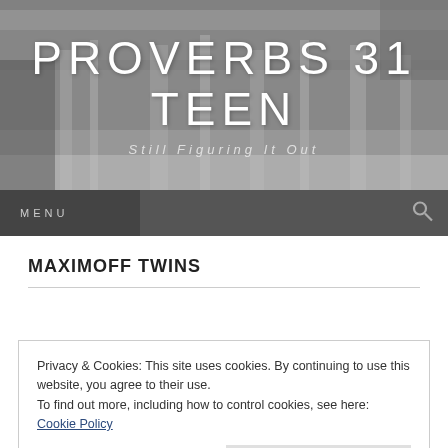[Figure (photo): Grayscale waterfall/river background banner image for the blog header]
PROVERBS 31 TEEN
Still Figuring It Out
MENU
MAXIMOFF TWINS
Privacy & Cookies: This site uses cookies. By continuing to use this website, you agree to their use.
To find out more, including how to control cookies, see here: Cookie Policy
Close and accept